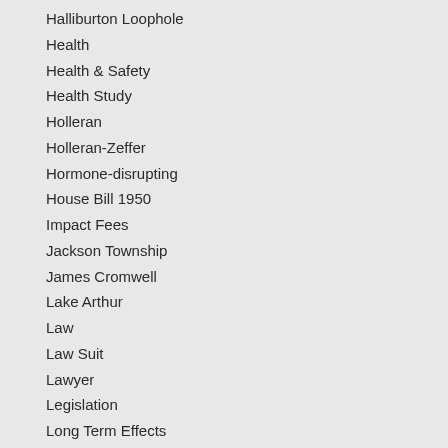Halliburton Loophole
Health
Health & Safety
Health Study
Holleran
Holleran-Zeffer
Hormone-disrupting
House Bill 1950
Impact Fees
Jackson Township
James Cromwell
Lake Arthur
Law
Law Suit
Lawyer
Legislation
Long Term Effects
Long-term Effects
Maggie Henry